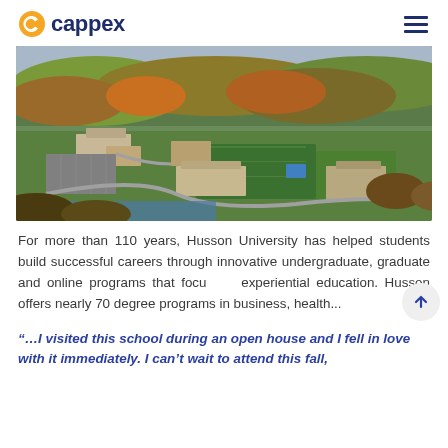cappex
[Figure (photo): Aerial view of Husson University campus showing buildings, sports fields, parking lots, and surrounding forested areas in autumn colors.]
For more than 110 years, Husson University has helped students build successful careers through innovative undergraduate, graduate and online programs that focus on experiential education. Husson offers nearly 70 degree programs in business, health...
“…I visited this school during an open house and I fell in love with it immediately. I can’t wait to attend this fall,